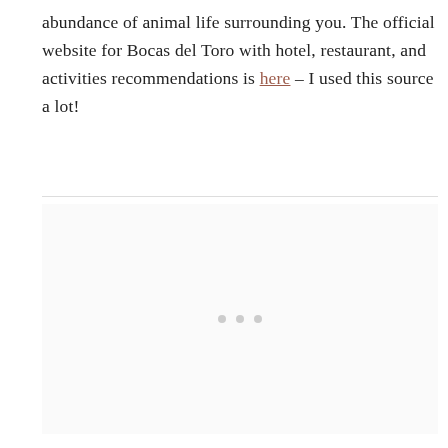abundance of animal life surrounding you. The official website for Bocas del Toro with hotel, restaurant, and activities recommendations is here – I used this source a lot!
[Figure (other): Advertisement placeholder with three grey dots centered in a light grey box]